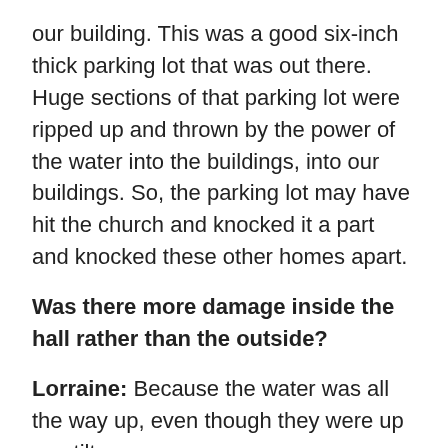our building. This was a good six-inch thick parking lot that was out there. Huge sections of that parking lot were ripped up and thrown by the power of the water into the buildings, into our buildings. So, the parking lot may have hit the church and knocked it a part and knocked these other homes apart.
Was there more damage inside the hall rather than the outside?
Lorraine: Because the water was all the way up, even though they were up on stilts,